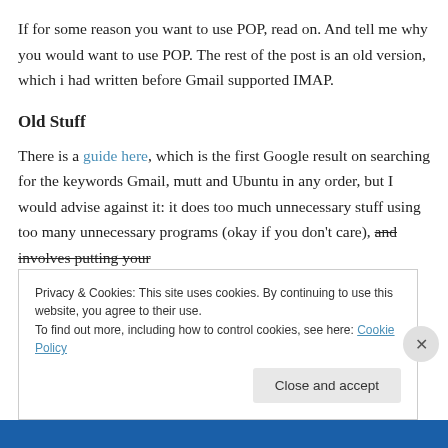If for some reason you want to use POP, read on. And tell me why you would want to use POP. The rest of the post is an old version, which i had written before Gmail supported IMAP.
Old Stuff
There is a guide here, which is the first Google result on searching for the keywords Gmail, mutt and Ubuntu in any order, but I would advise against it: it does too much unnecessary stuff using too many unnecessary programs (okay if you don't care), and involves putting your
Privacy & Cookies: This site uses cookies. By continuing to use this website, you agree to their use. To find out more, including how to control cookies, see here: Cookie Policy
Close and accept